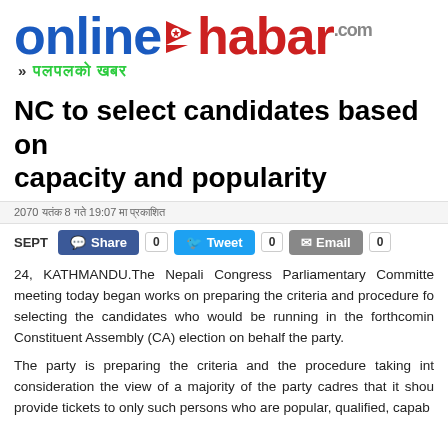[Figure (logo): Onlinekhabar logo with Nepal flag emblem and Nepali tagline]
NC to select candidates based on capacity and popularity
2070 [Nepali date] 8 [month] 19:07 [time] [Nepali text]
SEPT 24, KATHMANDU.The Nepali Congress Parliamentary Committee meeting today began works on preparing the criteria and procedure for selecting the candidates who would be running in the forthcoming Constituent Assembly (CA) election on behalf the party.
The party is preparing the criteria and the procedure taking into consideration the view of a majority of the party cadres that it should provide tickets to only such persons who are popular, qualified, capab…